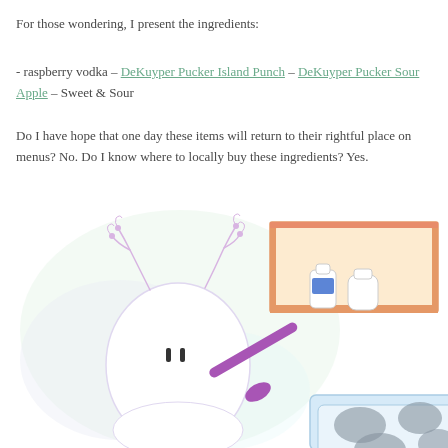For those wondering, I present the ingredients:
- raspberry vodka - DeKuyper Pucker Island Punch - DeKuyper Pucker Sour Apple - Sweet & Sour
Do I have hope that one day these items will return to their rightful place on menus? No. Do I know where to locally buy these ingredients? Yes.
[Figure (illustration): Whimsical cartoon illustration of a round ghost-like creature with antler-like tendrils on its head, two small dot eyes, holding a purple spatula over a tray with round dark circles. In the upper right corner is a small shelf with two bottles on it. The background has soft pastel green and purple gradient blobs.]